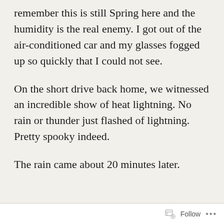remember this is still Spring here and the humidity is the real enemy. I got out of the air-conditioned car and my glasses fogged up so quickly that I could not see.
On the short drive back home, we witnessed an incredible show of heat lightning. No rain or thunder just flashed of lightning. Pretty spooky indeed.
The rain came about 20 minutes later.
Follow ...